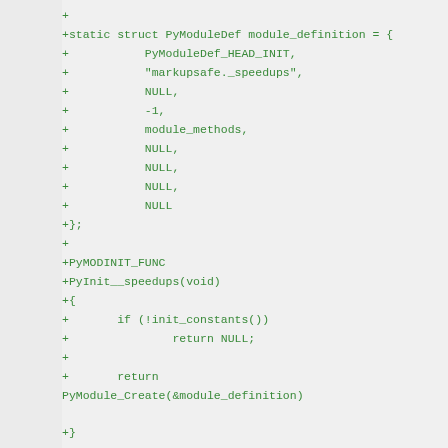Code diff showing Python C extension module definition (lines 1.404–1.426), including PyModuleDef struct, PyMODINIT_FUNC, PyInit__speedups function, and #endif preprocessor directive.